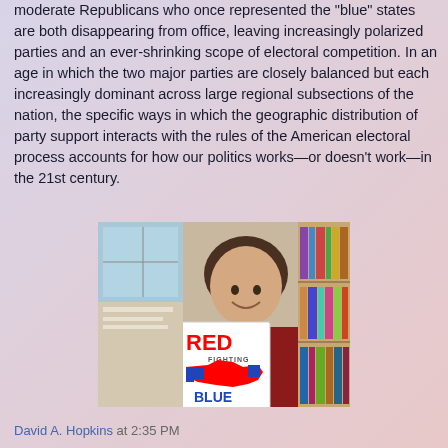moderate Republicans who once represented the "blue" states are both disappearing from office, leaving increasingly polarized parties and an ever-shrinking scope of electoral competition. In an age in which the two major parties are closely balanced but each increasingly dominant across large regional subsections of the nation, the specific ways in which the geographic distribution of party support interacts with the rules of the American electoral process accounts for how our politics works—or doesn't work—in the 21st century.
[Figure (photo): A man holding a book titled 'Red Fighting Blue' with a map of the United States on the cover, standing in front of a bookshelf.]
David A. Hopkins at 2:35 PM